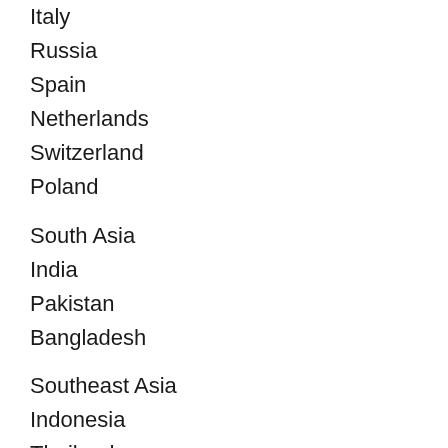Italy
Russia
Spain
Netherlands
Switzerland
Poland
South Asia
India
Pakistan
Bangladesh
Southeast Asia
Indonesia
Thailand
Singapore
Malaysia
Philippines
Vietnam